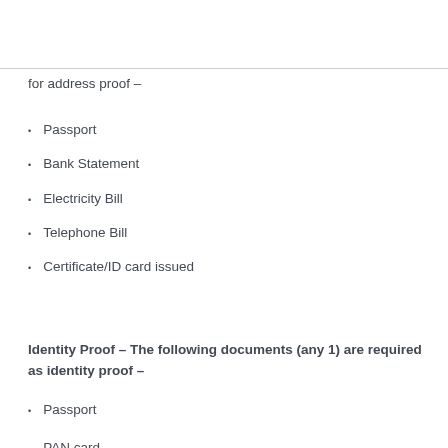for address proof –
Passport
Bank Statement
Electricity Bill
Telephone Bill
Certificate/ID card issued
Identity Proof – The following documents (any 1) are required as identity proof –
Passport
PAN card